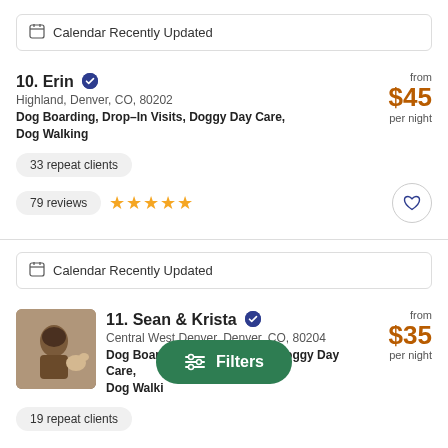Calendar Recently Updated
10. Erin — Highland, Denver, CO, 80202 — Dog Boarding, Drop-In Visits, Doggy Day Care, Dog Walking — from $45 per night — 33 repeat clients — 79 reviews ★★★★★
Calendar Recently Updated
11. Sean & Krista — Central West Denver, Denver, CO, 80204 — Dog Boarding, Drop-In Visits, Doggy Day Care, Dog Walking — from $35 per night — 19 repeat clients
Filters